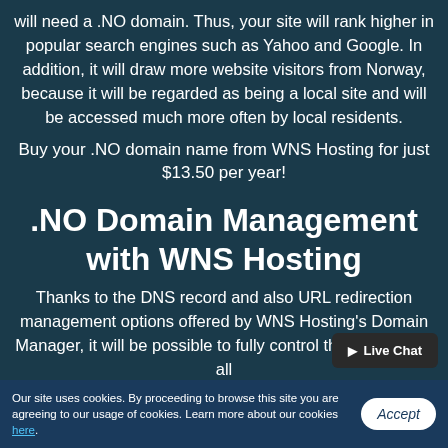will need a .NO domain. Thus, your site will rank higher in popular search engines such as Yahoo and Google. In addition, it will draw more website visitors from Norway, because it will be regarded as being a local site and will be accessed much more often by local residents.
Buy your .NO domain name from WNS Hosting for just $13.50 per year!
.NO Domain Management with WNS Hosting
Thanks to the DNS record and also URL redirection management options offered by WNS Hosting's Domain Manager, it will be possible to fully control the behavior of all
Our site uses cookies. By proceeding to browse this site you are agreeing to our usage of cookies. Learn more about our cookies here.